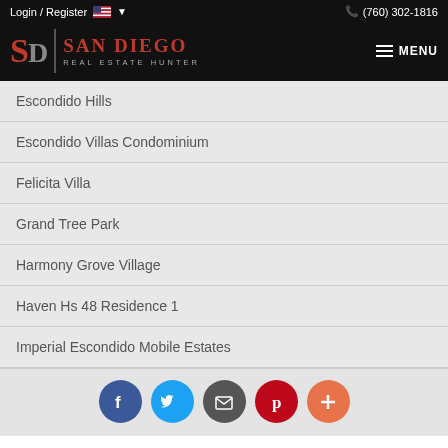Login / Register  (760) 302-1816
[Figure (logo): San Diego Real Estate Hunter logo with SD monogram in red on black background]
MENU
Escondido Hills
Escondido Villas Condominium
Felicita Villa
Grand Tree Park
Harmony Grove Village
Haven Hs 48 Residence 1
Imperial Escondido Mobile Estates
Social share buttons: Facebook, Twitter, Email, Pinterest, More